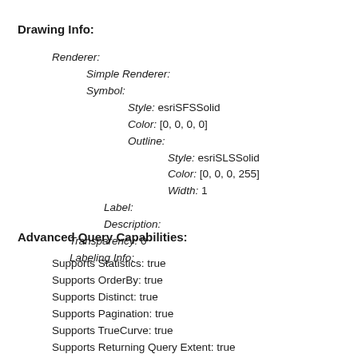Drawing Info:
Renderer:
  Simple Renderer:
  Symbol:
    Style: esriSFSSolid
    Color: [0, 0, 0, 0]
    Outline:
      Style: esriSLSSolid
      Color: [0, 0, 0, 255]
      Width: 1
Label:
Description:
Transparency: 0
Labeling Info:
Advanced Query Capabilities:
Supports Statistics: true
Supports OrderBy: true
Supports Distinct: true
Supports Pagination: true
Supports TrueCurve: true
Supports Returning Query Extent: true
Supports Query With Distance: true
Supports Sql Expression: true